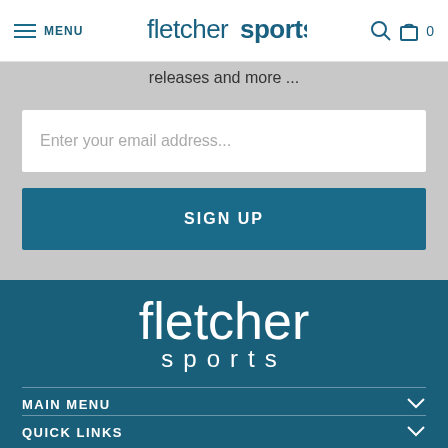MENU | fletchersports | 0
releases and more ...
Enter your email address...
SIGN UP
[Figure (logo): Fletcher Sports logo in white text on dark blue background. Two lines: 'fletcher' in large light font with 'sports' in spaced letters below.]
MAIN MENU
QUICK LINKS